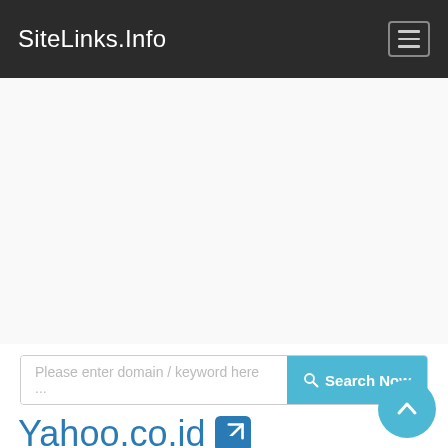SiteLinks.Info
[Figure (other): Advertisement/blank space area]
Please enter domain / keyword here ...
Yahoo.co.id
Yahoo.co.id has Server used 74.6.136.150 IP Address with Hostname in United States. Below listing website ranking, Similar Webs, Backlinks. This domain was first Unknown and hosted in